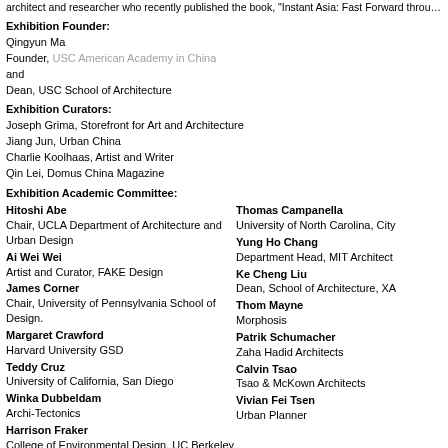architect and researcher who recently published the book, "Instant Asia: Fast Forward through the A (Skira, 2008), a guide to emerging Asian architects in collaboration with photographer Gaia Cambiagg
Exhibition Founder:
Qingyun Ma
Founder, USC American Academy in China
and
Dean, USC School of Architecture
Exhibition Curators:
Joseph Grima, Storefront for Art and Architecture
Jiang Jun, Urban China
Charlie Koolhaas, Artist and Writer
Qin Lei, Domus China Magazine
Exhibition Academic Committee:
Hitoshi Abe
Chair, UCLA Department of Architecture and Urban Design
Ai Wei Wei
Artist and Curator, FAKE Design
James Corner
Chair, University of Pennsylvania School of Design.
Margaret Crawford
Harvard University GSD
Teddy Cruz
University of California, San Diego
Winka Dubbeldam
Archi-Tectonics
Harrison Fraker
College of Environmental Design, UC Berkeley
Thomas Campanella
University of North Carolina, City
Yung Ho Chang
Department Head, MIT Architect
Ke Cheng Liu
Dean, School of Architecture, XA
Thom Mayne
Morphosis
Patrik Schumacher
Zaha Hadid Architects
Calvin Tsao
Tsao & McKown Architects
Vivian Fei Tsen
Urban Planner